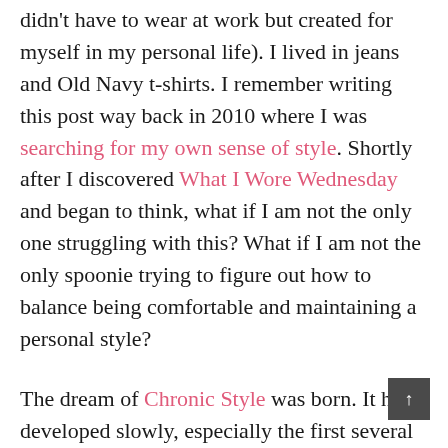didn't have to wear at work but created for myself in my personal life). I lived in jeans and Old Navy t-shirts. I remember writing this post way back in 2010 where I was searching for my own sense of style. Shortly after I discovered What I Wore Wednesday and began to think, what if I am not the only one struggling with this? What if I am not the only spoonie trying to figure out how to balance being comfortable and maintaining a personal style?
The dream of Chronic Style was born. It has developed slowly, especially the first several years as I just added in posts here and there but if you have noticed, the posts have become more frequent over the last year or two as I have begun to figure out for myself what my